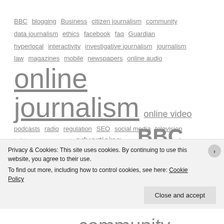[Figure (other): Tag cloud with journalism-related terms of varying sizes. Includes: BBC, blogging, Business, citizen journalism, community, data journalism, ethics, facebook, faq, Guardian, hyperlocal, interactivity, investigative journalism, journalism, law, magazines, mobile, newspapers, online audio, online journalism (largest), online video, podcasts, radio, regulation, SEO, social media, television, twitter, user generated content, video]
[Figure (other): Second tag cloud with terms: 21st century newsroom, advertising, api, BBC, bcuvideos, birmingham, business models, citizen journalism, comments, community, computer aided reporting, copyright, crowdsourcing, daily mail, Denise Radcliffe (partially visible)]
Privacy & Cookies: This site uses cookies. By continuing to use this website, you agree to their use.
To find out more, including how to control cookies, see here: Cookie Policy
Close and accept